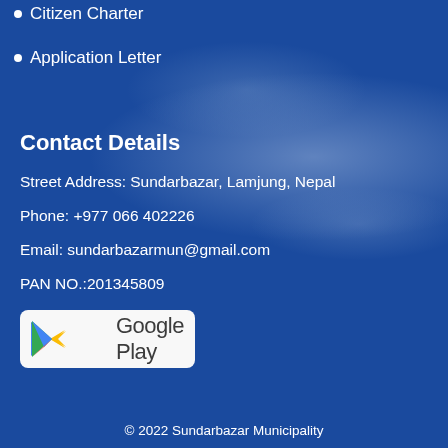Citizen Charter
Application Letter
Contact Details
Street Address: Sundarbazar, Lamjung, Nepal
Phone: +977 066 402226
Email: sundarbazarmun@gmail.com
PAN NO.:201345809
[Figure (logo): Google Play store badge with play button triangle icon in red/yellow/blue/green and 'Google Play' text on white/light background]
© 2022  Sundarbazar Municipality